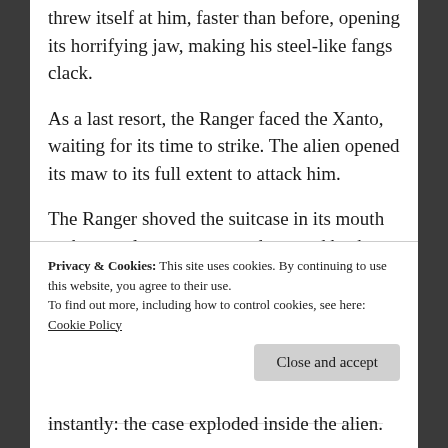threw itself at him, faster than before, opening its horrifying jaw, making his steel-like fangs clack.
As a last resort, the Ranger faced the Xanto, waiting for its time to strike. The alien opened its maw to its full extent to attack him.
The Ranger shoved the suitcase in its mouth at the very last moment, and stepped back. The case managed to block the Xanto's mouth, and the alien was now looking confusedly at him.
Privacy & Cookies: This site uses cookies. By continuing to use this website, you agree to their use.
To find out more, including how to control cookies, see here:
Cookie Policy
Close and accept
instantly: the case exploded inside the alien.